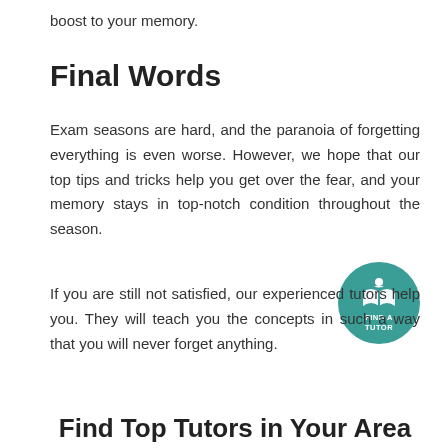boost to your memory.
Final Words
Exam seasons are hard, and the paranoia of forgetting everything is even worse. However, we hope that our top tips and tricks help you get over the fear, and your memory stays in top-notch condition throughout the season.
[Figure (infographic): Circular teal badge with an open book icon and the text FIND A TUTOR in white]
If you are still not satisfied, our experienced tutors help you. They will teach you the concepts in such a way that you will never forget anything.
Find Top Tutors in Your Area